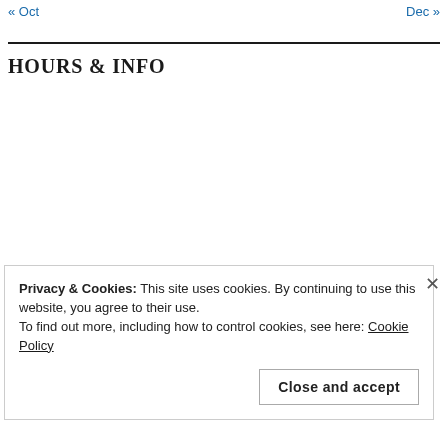« Oct   Dec »
HOURS & INFO
Privacy & Cookies: This site uses cookies. By continuing to use this website, you agree to their use.
To find out more, including how to control cookies, see here: Cookie Policy
Close and accept